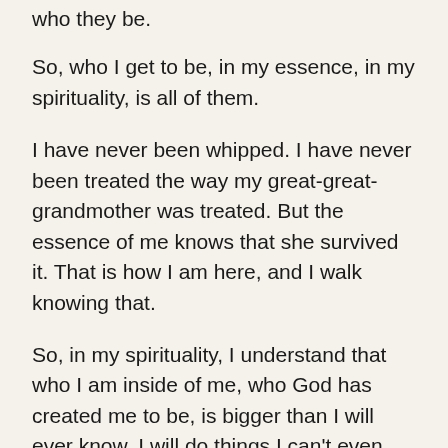who they be.
So, who I get to be, in my essence, in my spirituality, is all of them.
I have never been whipped. I have never been treated the way my great-great-grandmother was treated. But the essence of me knows that she survived it. That is how I am here, and I walk knowing that.
So, in my spirituality, I understand that who I am inside of me, who God has created me to be, is bigger than I will ever know. I will do things I can't even imagine, because of the grace that has been given to me, the life that has been blessed to me, and the lives that have come before me.
I know I couldn't have gotten here without